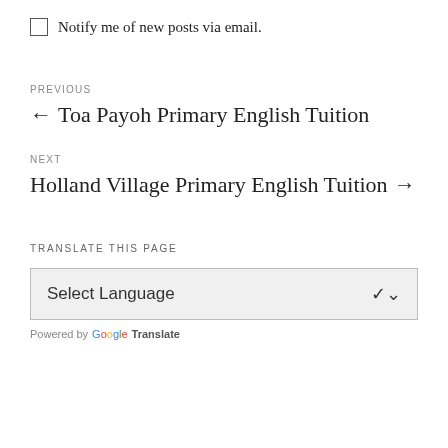Notify me of new posts via email.
PREVIOUS
← Toa Payoh Primary English Tuition
NEXT
Holland Village Primary English Tuition →
TRANSLATE THIS PAGE
Select Language
Powered by Google Translate